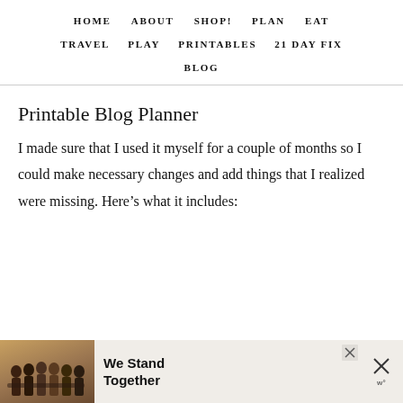HOME   ABOUT   SHOP!   PLAN   EAT   TRAVEL   PLAY   PRINTABLES   21 DAY FIX   BLOG
Printable Blog Planner
I made sure that I used it myself for a couple of months so I could make necessary changes and add things that I realized were missing. Here’s what it includes:
[Figure (infographic): Advertisement banner showing group of people with backs to camera and text 'We Stand Together']